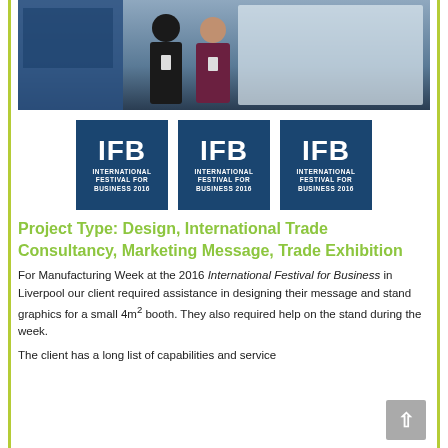[Figure (photo): Photo of two people standing at a trade exhibition booth with blue branded backdrop]
[Figure (logo): Three IFB International Festival for Business 2016 logos in dark blue]
Project Type: Design, International Trade Consultancy, Marketing Message, Trade Exhibition
For Manufacturing Week at the 2016 International Festival for Business in Liverpool our client required assistance in designing their message and stand graphics for a small 4m² booth. They also required help on the stand during the week.
The client has a long list of capabilities and service